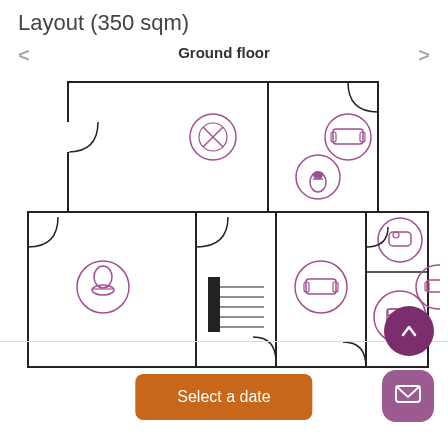Layout (350 sqm)
Ground floor
[Figure (engineering-diagram): Floor plan of a ground floor layout showing multiple rooms with circular icons indicating room types: kitchen (chef hat), living rooms (sofa), bathroom (toilet), bathroom (bathtub), bedroom (bed). Two-level floor plan with stairs indicated.]
Select a date